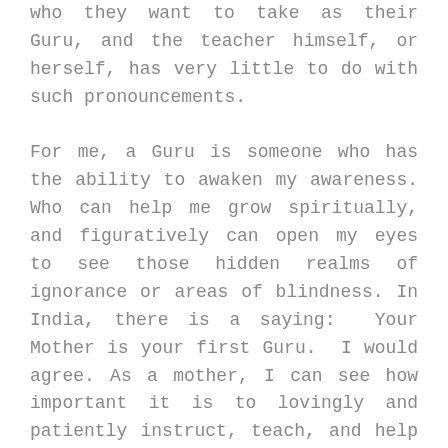who they want to take as their Guru, and the teacher himself, or herself, has very little to do with such pronouncements. For me, a Guru is someone who has the ability to awaken my awareness. Who can help me grow spiritually, and figuratively can open my eyes to see those hidden realms of ignorance or areas of blindness. In India, there is a saying: Your Mother is your first Guru. I would agree. As a mother, I can see how important it is to lovingly and patiently instruct, teach, and help my son to learn, grow, and discover the world around him, while imparting values and lessons on how to be a good human. Most of this teaching is non-verbal. Really, this is the role of a Guru, to